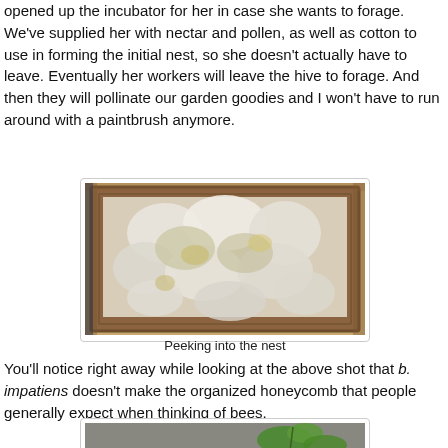opened up the incubator for her in case she wants to forage. We've supplied her with nectar and pollen, as well as cotton to use in forming the initial nest, so she doesn't actually have to leave. Eventually her workers will leave the hive to forage. And then they will pollinate our garden goodies and I won't have to run around with a paintbrush anymore.
[Figure (photo): A wooden-framed glass box viewed from above, showing fluffy white cotton nesting material with some yellowish patches, used as a bumblebee nest incubator.]
Peeking into the nest
You'll notice right away while looking at the above shot that b. impatiens doesn't make the organized honeycomb that people generally expect when thinking of bees.
[Figure (photo): Partial view of another photograph showing green leaves against a grey background, likely a garden scene.]